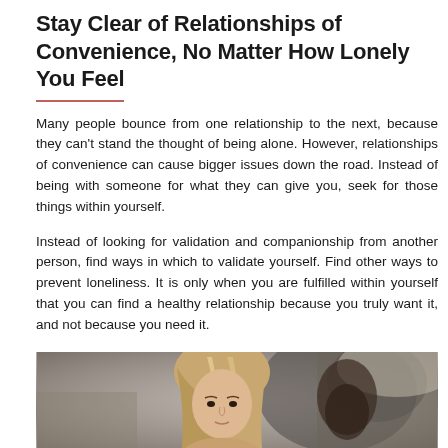Stay Clear of Relationships of Convenience, No Matter How Lonely You Feel
Many people bounce from one relationship to the next, because they can't stand the thought of being alone. However, relationships of convenience can cause bigger issues down the road. Instead of being with someone for what they can give you, seek for those things within yourself.
Instead of looking for validation and companionship from another person, find ways in which to validate yourself. Find other ways to prevent loneliness. It is only when you are fulfilled within yourself that you can find a healthy relationship because you truly want it, and not because you need it.
[Figure (photo): A woman with long blonde hair looking at the camera with a blurred background featuring another person and an indoor setting.]